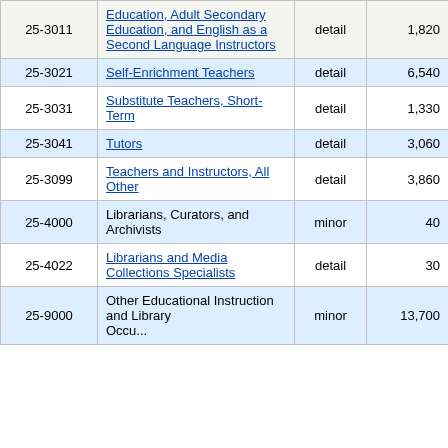| Code | Title | Level | Col4 | Col5 |
| --- | --- | --- | --- | --- |
| 25-3011 | Education, Adult Secondary Education, and English as a Second Language Instructors | detail | 1,820 | 23. |
| 25-3021 | Self-Enrichment Teachers | detail | 6,540 | 9. |
| 25-3031 | Substitute Teachers, Short-Term | detail | 1,330 | 11. |
| 25-3041 | Tutors | detail | 3,060 | 16. |
| 25-3099 | Teachers and Instructors, All Other | detail | 3,860 | 12. |
| 25-4000 | Librarians, Curators, and Archivists | minor | 40 | 36. |
| 25-4022 | Librarians and Media Collections Specialists | detail | 30 | 31. |
| 25-9000 | Other Educational Instruction and Library... | minor | 13,700 | 5. |